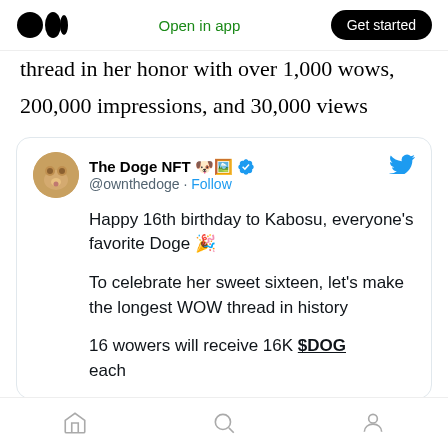Medium logo | Open in app | Get started
thread in her honor with over 1,000 wows, 200,000 impressions, and 30,000 views
[Figure (screenshot): Embedded tweet from @ownthedoge (The Doge NFT) with dog avatar, verified badge, and text: Happy 16th birthday to Kabosu, everyone's favorite Doge 🎉 To celebrate her sweet sixteen, let's make the longest WOW thread in history 16 wowers will receive 16K $DOG each]
Home | Search | Profile navigation icons